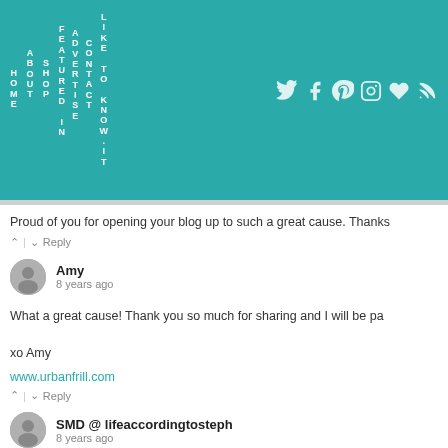[Figure (screenshot): Blog website header with teal background showing vertical navigation words (HOME, ABOUT, SHOP, FEATURED IN, ADVERTISE, CONTACT, LIKE TO KNOW IT) and social media icons (Twitter, Facebook, Pinterest, Instagram, heart, RSS)]
Proud of you for opening your blog up to such a great cause. Thanks
^ | v   Reply
Amy
8 years ago
What a great cause! Thank you so much for sharing and I will be pa

xo Amy
www.urbanfrill.com
^ | v   Reply
SMD @ lifeaccordingtosteph
8 years ago